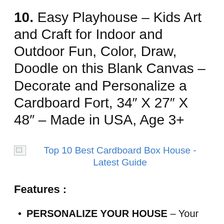10. Easy Playhouse – Kids Art and Craft for Indoor and Outdoor Fun, Color, Draw, Doodle on this Blank Canvas – Decorate and Personalize a Cardboard Fort, 34″ X 27″ X 48″ – Made in USA, Age 3+
[Figure (other): Broken image placeholder with a link: Top 10 Best Cardboard Box House - Latest Guide]
Features :
PERSONALIZE YOUR HOUSE – Your